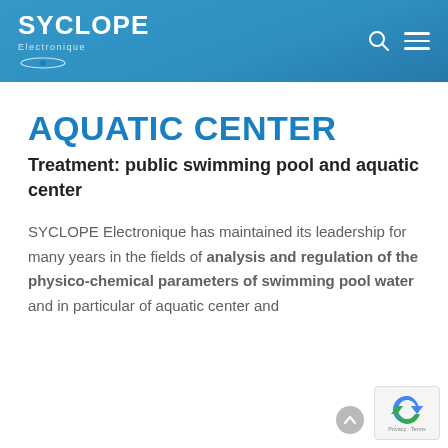SYCLOPE Electronique
AQUATIC CENTER
Treatment: public swimming pool and aquatic center
SYCLOPE Electronique has maintained its leadership for many years in the fields of analysis and regulation of the physico-chemical parameters of swimming pool water and in particular of aquatic center and